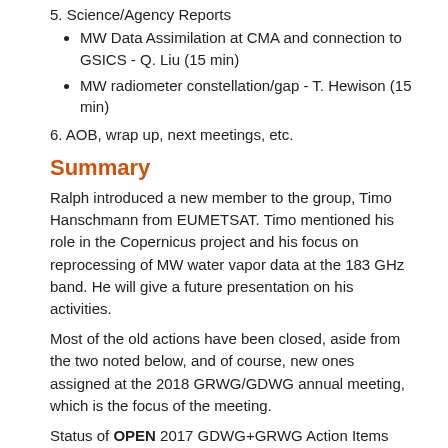MW Data Assimilation at CMA and connection to GSICS - Q. Liu (15 min)
MW radiometer constellation/gap - T. Hewison (15 min)
6. AOB, wrap up, next meetings, etc.
Summary
Ralph introduced a new member to the group, Timo Hanschmann from EUMETSAT. Timo mentioned his role in the Copernicus project and his focus on reprocessing of MW water vapor data at the 183 GHz band. He will give a future presentation on his activities.
Most of the old actions have been closed, aside from the two noted below, and of course, new ones assigned at the 2018 GRWG/GDWG annual meeting, which is the focus of the meeting.
Status of OPEN 2017 GDWG+GRWG Action Items
GMW2017.6f.2 - GRUAN - T. Reale - NO UPDATE (Tony could not make the meeting)
GMW2017.6g.1 - MW RTM comparison - I. Moradi - Isaac is about ready to do some comparisons with RTTOV and CRTM, awaiting some GRUAN colocations from Tony Reale.
We'll work on getting this moving forward.